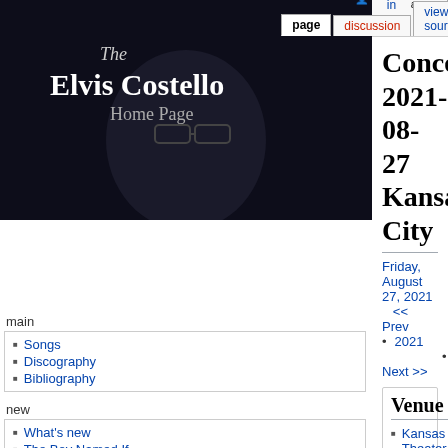[Figure (screenshot): Elvis Costello Home Page logo with dark background showing Elvis Costello in glasses]
log in  request account  page  discussion  view source  history
main
Songs
Discography
Bibliography
new
What's new
The Boy Named If
Resurrection of Rust
New releases
live
Concert schedule
Gigography
Tours
Boy Named If Tour
Performance Index
Concert 2021-08-27 Kansas City
Friday, August 27, 2021   << Prev • 2021 • Next >>
Venue
Kansas City, MO, Uptown Theater
Musicians
Elvis Costello
The Layabouts Pete Thomas
Reviews
Discussion
Elvis Costello Fan For
Photos
[Figure (photo): Concert stage photo showing performers under blue/purple stage lighting]